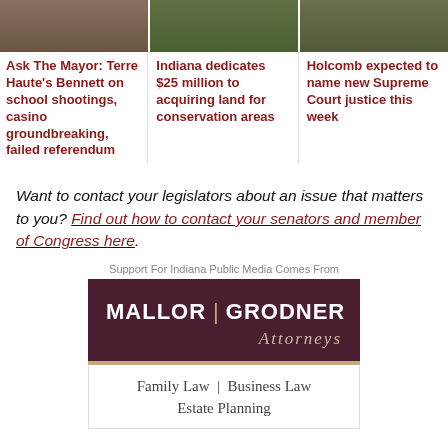[Figure (photo): Three news article thumbnail images in a row at the top of the page]
Ask The Mayor: Terre Haute's Bennett on school shootings, casino groundbreaking, failed referendum
Indiana dedicates $25 million to acquiring land for conservation areas
Holcomb expected to name new Supreme Court justice this week
Want to contact your legislators about an issue that matters to you? Find out how to contact your senators and member of Congress here.
Support For Indiana Public Media Comes From
[Figure (logo): Mallor Grodner Attorneys advertisement - dark maroon background with MALLOR | GRODNER in white bold letters, Attorneys in italic, and Family Law | Business Law Estate Planning below]